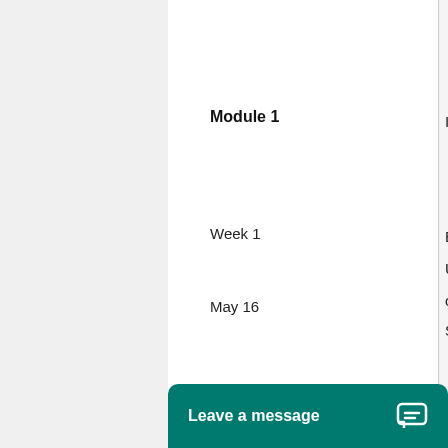Module 1
Week 1
May 16
Int
Ba
Und
of
Soc
[Figure (screenshot): Leave a message chat widget button, teal/green background with white text and chat bubble icon]